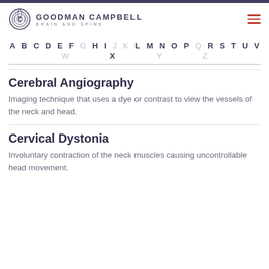GOODMAN CAMPBELL BRAIN AND SPINE
A B C D E F G H I J K L M N O P Q R S T U V W X Y Z
Cerebral Angiography
Imaging technique that uses a dye or contrast to view the vessels of the neck and head.
Cervical Dystonia
Involuntary contraction of the neck muscles causing uncontrollable head movement.